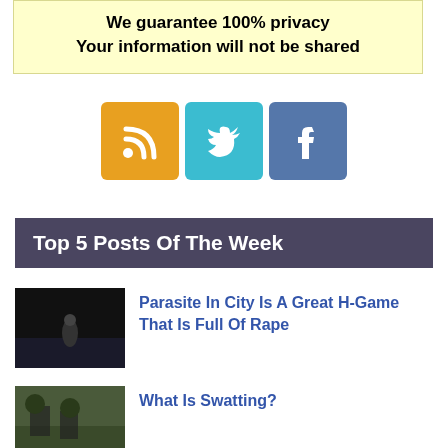We guarantee 100% privacy
Your information will not be shared
[Figure (infographic): Social media icons: RSS (orange), Twitter (teal), Facebook (blue-grey)]
Top 5 Posts Of The Week
Parasite In City Is A Great H-Game That Is Full Of Rape
What Is Swatting?